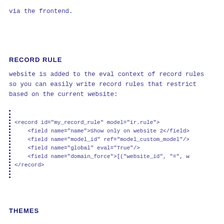via the frontend.
RECORD RULE
website is added to the eval context of record rules so you can easily write record rules that restrict based on the current website:
<record id="my_record_rule" model="ir.rule">
    <field name="name">Show only on website 2</field>
    <field name="model_id" ref="model_custom_model"/>
    <field name="global" eval="True"/>
    <field name="domain_force">[("website_id", "=", w
</record>
THEMES